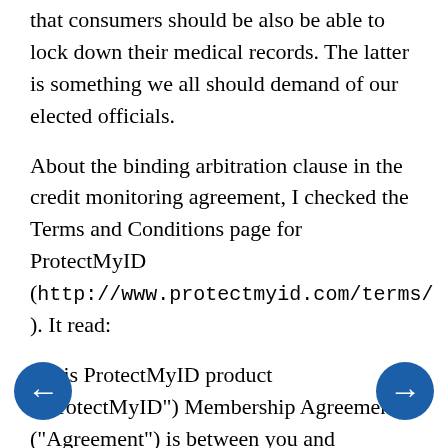that consumers should be also be able to lock down their medical records. The latter is something we all should demand of our elected officials.
About the binding arbitration clause in the credit monitoring agreement, I checked the Terms and Conditions page for ProtectMyID (http://www.protectmyid.com/terms/ ). It read:
"This ProtectMyID product ("ProtectMyID") Membership Agreement ("Agreement") is between you and ConsumerInfo.com, Inc. ("CIC" "us" "our" or "we") and explains the terms and conditions under which you may use the ProtectMyID.com ("Website") and the ProtectMyID product, including without limitation...